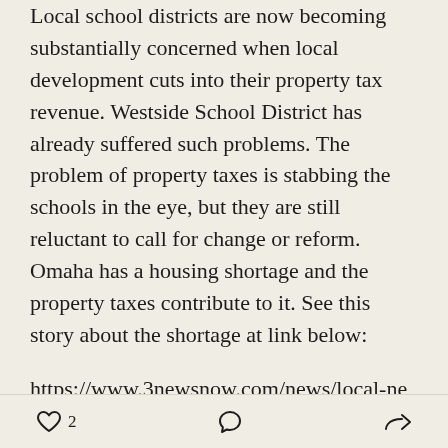Local school districts are now becoming substantially concerned when local development cuts into their property tax revenue. Westside School District has already suffered such problems. The problem of property taxes is stabbing the schools in the eye, but they are still reluctant to call for change or reform. Omaha has a housing shortage and the property taxes contribute to it. See this story about the shortage at link below:
https://www.3newsnow.com/news/local-news/displaced-tenants-struggle-to-find-new-homes-because-of-omahas-housing-crisis
This is why people are gravitating to the EPIC Consumption tax. People's personal property should
♡ 2  ○  ⇒